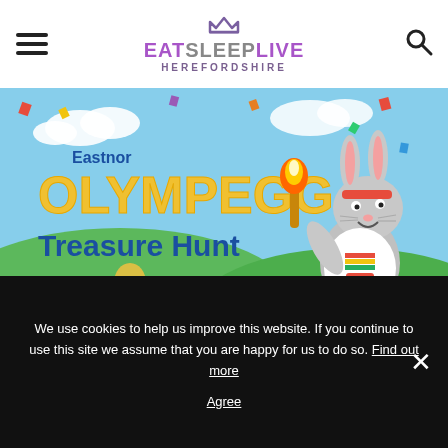EAT SLEEP LIVE HEREFORDSHIRE
[Figure (illustration): Eastnor OLYMPEGG Treasure Hunt promotional banner. Features a cartoon rabbit in athletic gear holding an Olympic torch, running on a green hill landscape with colorful confetti. Text reads 'Eastnor OLYMPEGG Treasure Hunt Fri 10 - Mon 13 April #EasternEaster' on a blue sky background.]
We use cookies to help us improve this website. If you continue to use this site we assume that you are happy for us to do so. Find out more
Agree